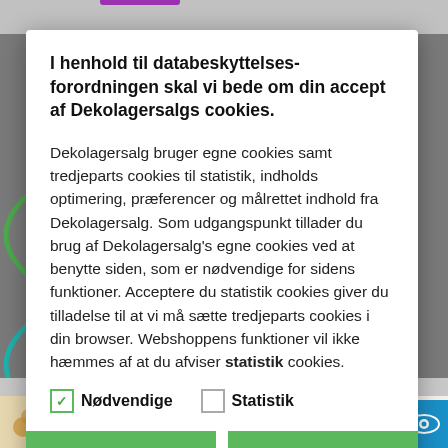[Figure (screenshot): Cookie consent modal dialog overlaying a Danish e-commerce website (Dekolagersalg). The modal contains a bold title, body text in Danish explaining cookie usage, checkboxes for 'Nødvendige' and 'Statistik', and two green buttons: 'Tillad valgte' and 'Tillad alle cookies'. A bottom bar shows product price DKK 10,00 incl. moms and an add-to-cart button.]